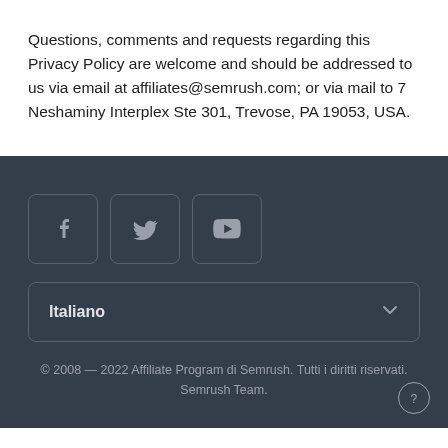Questions, comments and requests regarding this Privacy Policy are welcome and should be addressed to us via email at affiliates@semrush.com; or via mail to 7 Neshaminy Interplex Ste 301, Trevose, PA 19053, USA.
[Figure (other): Social media icon buttons for Facebook, Twitter, and YouTube on a dark background]
Italiano
© 2008 — 2022 Affiliate Program di Semrush. Tutti i diritti riservati. Semrush Team.